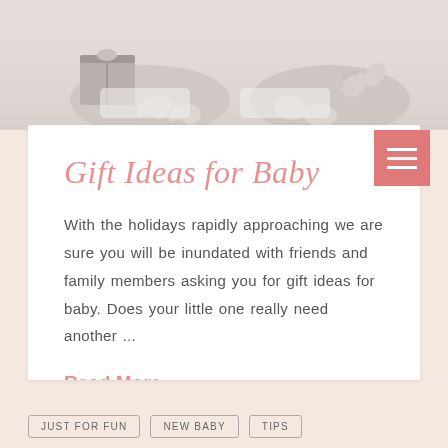[Figure (photo): Black and white photo of two babies lying down, one holding a gift box]
Gift Ideas for Baby
With the holidays rapidly approaching we are sure you will be inundated with friends and family members asking you for gift ideas for baby. Does your little one really need another ...
Read More
JUST FOR FUN
NEW BABY
TIPS